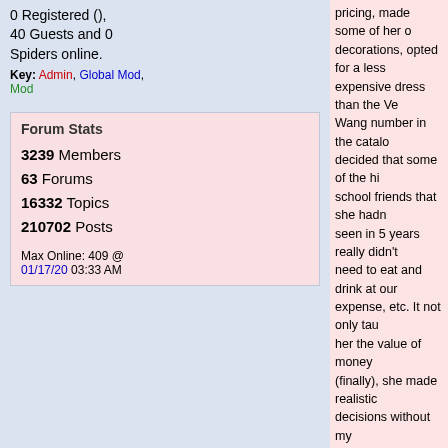0 Registered (), 40 Guests and 0 Spiders online.
Key: Admin, Global Mod, Mod
Forum Stats
3239 Members
63 Forums
16332 Topics
210702 Posts

Max Online: 409 @ 01/17/20 03:33 AM
pricing, made some of her own decorations, opted for a less expensive dress than the Vera Wang number in the catalog, decided that some of the high school friends that she hadn't seen in 5 years really didn't need to eat and drink at our expense, etc. It not only taught her the value of money (finally), she made realistic decisions without my intervention, ended up getting a nice sum back, and we didn't have one argument in the planning process. The whole experience was delightful!
Top
Re: teaching kids to manage money
#71461 - 10/05/04 01:59
chatty lady
Writer
WizardofZA, what a wonderful idea, seriously that was brilliant. Wish I'd have thought of that